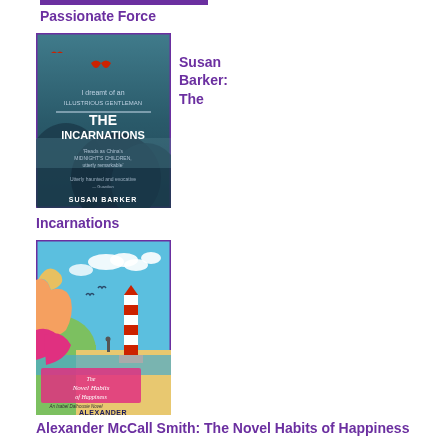Passionate Force
[Figure (illustration): Book cover of 'The Incarnations' by Susan Barker, dark teal/blue misty mountain landscape with red birds flying]
Susan Barker: The Incarnations
[Figure (illustration): Book cover of 'The Novel Habits of Happiness' by Alexander McCall Smith, colorful coastal scene with lighthouse and figure on beach, woman's profile on left]
Alexander McCall Smith: The Novel Habits of Happiness